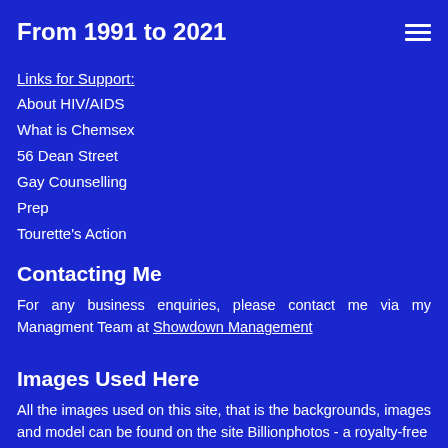From 1991 to 2021
Links for Support:
About HIV/AIDS
What is Chemsex
56 Dean Street
Gay Counselling
Prep
Tourette's Action
Contacting Me
For any business enquiries, please contact me via my Managment Team at Showdown Management
Images Used Here
All the images used on this site, that is the backgrounds, images and model can be found on the site Billionphotos - a royalty-free